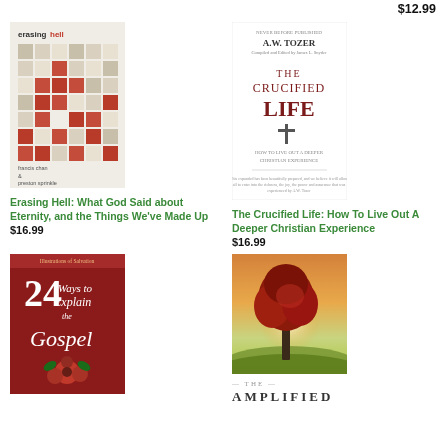$12.99
[Figure (photo): Book cover: Erasing Hell by Francis Chan and Preston Sprinkle — mosaic tile pattern in red, tan, and white]
Erasing Hell: What God Said about Eternity, and the Things We've Made Up
$16.99
[Figure (photo): Book cover: The Crucified Life by A.W. Tozer — white cover with cross illustration and subtitle 'How to Live Out a Deeper Christian Experience']
The Crucified Life: How To Live Out A Deeper Christian Experience
$16.99
[Figure (photo): Book cover: 24 Ways to Explain the Gospel — decorative script on dark background]
[Figure (photo): Book cover: The Amplified Bible — tree in field at sunset]